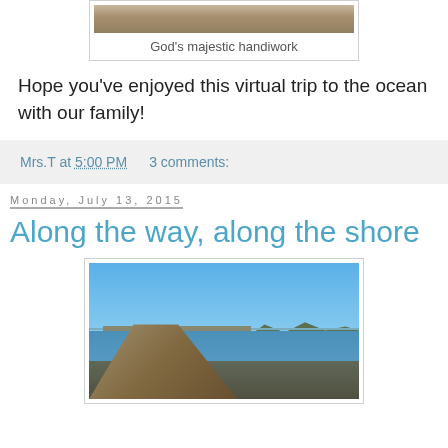[Figure (photo): Top portion of a photo of rocky coastal scenery (God's majestic handiwork)]
God's majestic handiwork
Hope you've enjoyed this virtual trip to the ocean with our family!
Mrs.T at 5:00 PM   3 comments:
Monday, July 13, 2015
Along the way, along the shore
[Figure (photo): Photo of a waterfront dock/pier with a bridge and treeline in background under blue sky]